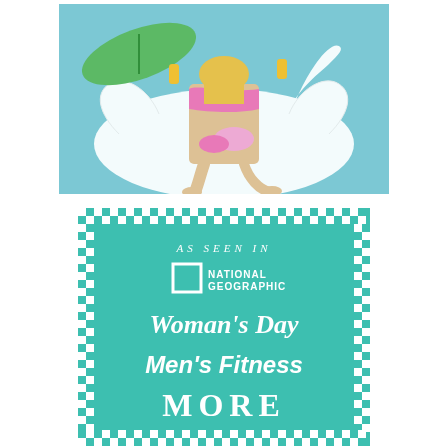[Figure (photo): A woman in a pink bikini sitting on a large white inflatable swan pool float, holding drinks, with small pink flamingo floats. Green tropical leaf float visible in background. Pool setting.]
[Figure (infographic): Teal/turquoise banner with checkerboard border showing 'AS SEEN IN' text followed by logos: National Geographic, Woman's Day, Men's Fitness, More magazine]